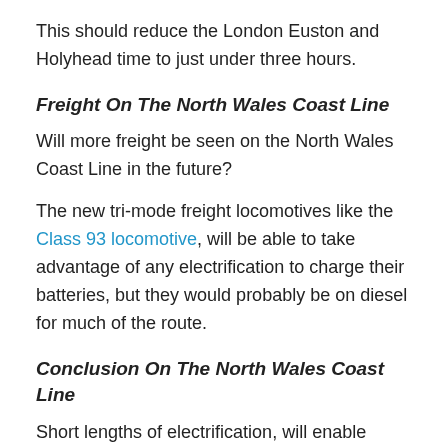This should reduce the London Euston and Holyhead time to just under three hours.
Freight On The North Wales Coast Line
Will more freight be seen on the North Wales Coast Line in the future?
The new tri-mode freight locomotives like the Class 93 locomotive, will be able to take advantage of any electrification to charge their batteries, but they would probably be on diesel for much of the route.
Conclusion On The North Wales Coast Line
Short lengths of electrification, will enable Avanti West Coast's AT-300 trains, after retrofitting with batteries, to run between Crewe and Holyhead, without using any diesel.